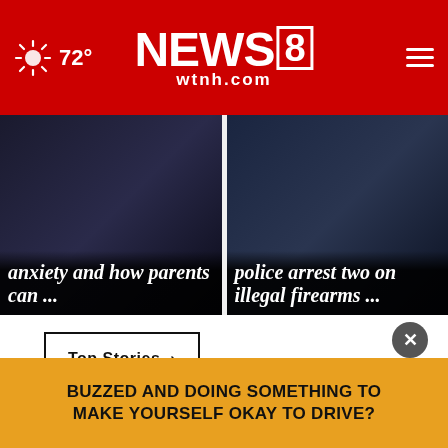NEWS 8 wtnh.com — 72°
[Figure (screenshot): News card left: dark background with white bold italic text reading 'anxiety and how parents can ...']
[Figure (screenshot): News card right: dark background with white bold italic text reading 'police arrest two on illegal firearms ...']
Top Stories ›
BUZZED AND DOING SOMETHING TO MAKE YOURSELF OKAY TO DRIVE?